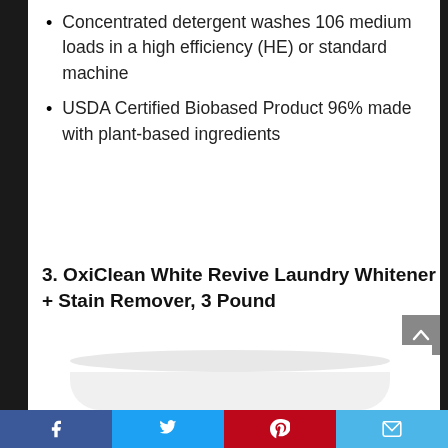Concentrated detergent washes 106 medium loads in a high efficiency (HE) or standard machine
USDA Certified Biobased Product 96% made with plant-based ingredients
3. OxiClean White Revive Laundry Whitener + Stain Remover, 3 Pound
[Figure (photo): Product photo of OxiClean White Revive canister, partially visible at bottom of page]
Facebook | Twitter | Pinterest | Email social share bar